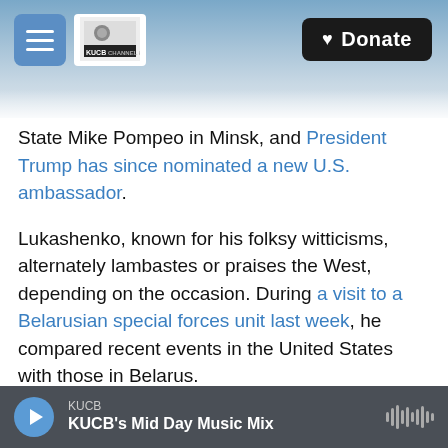[Figure (screenshot): Website header with mountain/winter landscape background, hamburger menu icon, KUCB Channel 8 TV logo, and Donate button]
State Mike Pompeo in Minsk, and President Trump has since nominated a new U.S. ambassador.
Lukashenko, known for his folksy witticisms, alternately lambastes or praises the West, depending on the occasion. During a visit to a Belarusian special forces unit last week, he compared recent events in the United States with those in Belarus.
"We would not want to resort to using the armed forces, however, anything can happen. The United States is a case in point," he said, referring to the
KUCB — KUCB's Mid Day Music Mix